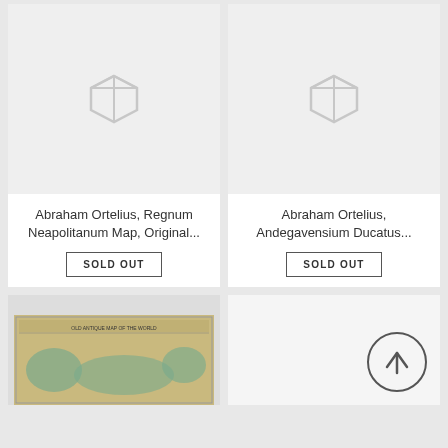[Figure (other): Product card placeholder image with package icon for Abraham Ortelius Regnum Neapolitanum Map]
Abraham Ortelius, Regnum Neapolitanum Map, Original...
SOLD OUT
[Figure (other): Product card placeholder image with package icon for Abraham Ortelius Andegavensium Ducatus]
Abraham Ortelius, Andegavensium Ducatus...
SOLD OUT
[Figure (photo): Partial view of an antique map showing landmasses with cartographic illustration]
[Figure (other): Scroll to top button with upward arrow icon]